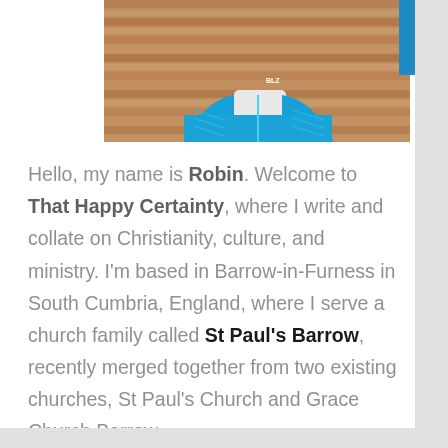[Figure (photo): Partial photo of a person wearing a blue puffer jacket, standing in front of a textured rusty/wooden background. Only the torso and lower face area visible, cropped at top.]
Hello, my name is Robin. Welcome to That Happy Certainty, where I write and collate on Christianity, culture, and ministry. I'm based in Barrow-in-Furness in South Cumbria, England, where I serve a church family called St Paul's Barrow, recently merged together from two existing churches, St Paul's Church and Grace Church Barrow.